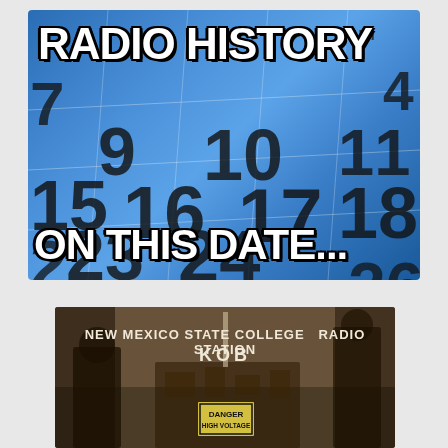[Figure (photo): Calendar background image with blue tones showing dates (numbers: 7, 4, 8, 9, 10, 11, 15, 16, 17, 18, 2, 23, 24, 30, 26) and FRI header. Overlaid with bold white text 'RADIO HISTORY' at top and 'ON THIS DATE...' at bottom.]
[Figure (photo): Sepia-toned historical photograph of New Mexico State College Radio Station KOB. Text visible: 'NEW MEXICO STATE COLLEGE RADIO STATION KOB'. A 'DANGER HIGH VOLTAGE' sign is visible in the foreground. Two people visible in the background.]